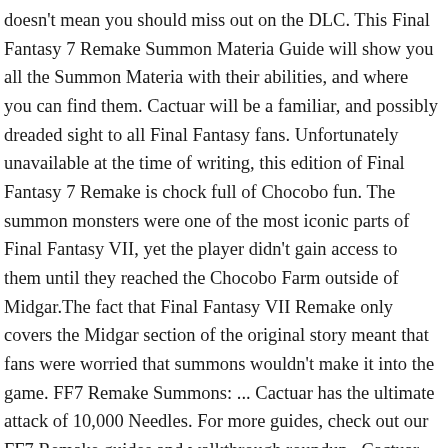doesn't mean you should miss out on the DLC. This Final Fantasy 7 Remake Summon Materia Guide will show you all the Summon Materia with their abilities, and where you can find them. Cactuar will be a familiar, and possibly dreaded sight to all Final Fantasy fans. Unfortunately unavailable at the time of writing, this edition of Final Fantasy 7 Remake is chock full of Chocobo fun. The summon monsters were one of the most iconic parts of Final Fantasy VII, yet the player didn't gain access to them until they reached the Chocobo Farm outside of Midgar.The fact that Final Fantasy VII Remake only covers the Midgar section of the original story meant that fans were worried that summons wouldn't make it into the game. FF7 Remake Summons: ... Cactuar has the ultimate attack of 10,000 Needles. For more guides, check out our FF7 Remake guides and walkthrough roundup . Cactuar island is an island so small it wont show up on the radar and this is the only place you can run into cactuars. Summon Materia allow you to summon special and powerful characters and beasts that will come to aid you in a battle. This is a page about the Cactuar materia, a summon materia in Final Fantasy 7 Remake (FF7R). This guide on How To Unlock All Summon Materia In Final